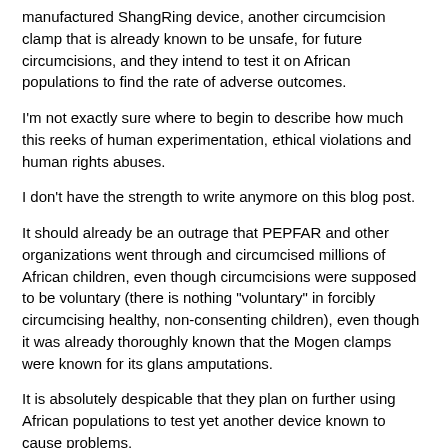manufactured ShangRing device, another circumcision clamp that is already known to be unsafe, for future circumcisions, and they intend to test it on African populations to find the rate of adverse outcomes.
I'm not exactly sure where to begin to describe how much this reeks of human experimentation, ethical violations and human rights abuses.
I don't have the strength to write anymore on this blog post.
It should already be an outrage that PEPFAR and other organizations went through and circumcised millions of African children, even though circumcisions were supposed to be voluntary (there is nothing "voluntary" in forcibly circumcising healthy, non-consenting children), even though it was already thoroughly known that the Mogen clamps were known for its glans amputations.
It is absolutely despicable that they plan on further using African populations to test yet another device known to cause problems.
Precisely what is this about?
A genuine interest in public health?